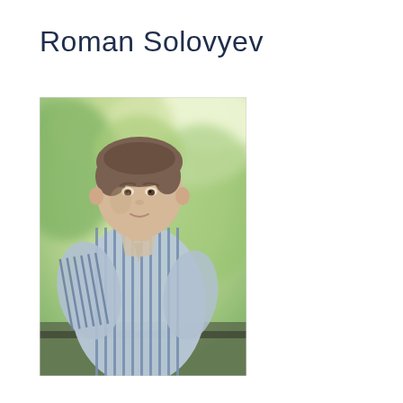Roman Solovyev
[Figure (photo): Portrait photo of Roman Solovyev, a young man with short brown hair wearing a blue and white striped short-sleeve button-up shirt, photographed outdoors with a blurred green foliage background.]